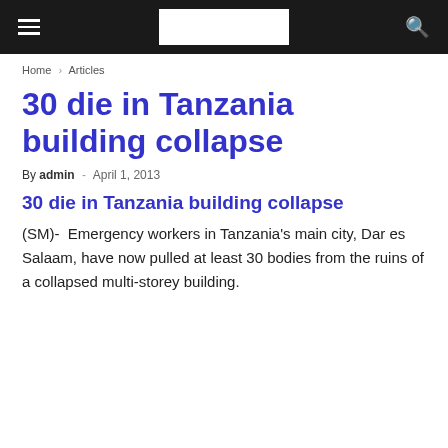≡  [logo]  🔍
Home › Articles
30 die in Tanzania building collapse
By admin - April 1, 2013
30 die in Tanzania building collapse
(SM)-  Emergency workers in Tanzania's main city, Dar es Salaam, have now pulled at least 30 bodies from the ruins of a collapsed multi-storey building.